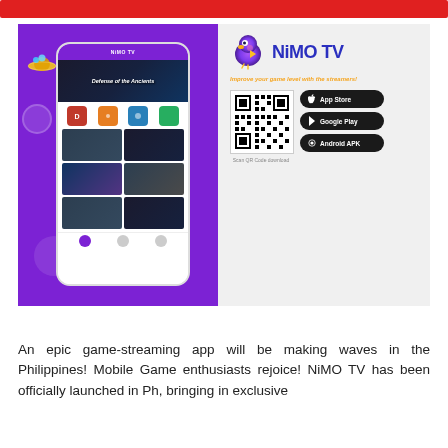[Figure (screenshot): NiMO TV app advertisement showing a phone mockup with the NiMO TV app interface on a purple background, alongside the NiMO TV logo, tagline 'Improve your game level with the streamers!', a QR code, and download buttons for App Store, Google Play, and Android APK]
An epic game-streaming app will be making waves in the Philippines! Mobile Game enthusiasts rejoice! NiMO TV has been officially launched in Ph, bringing in exclusive